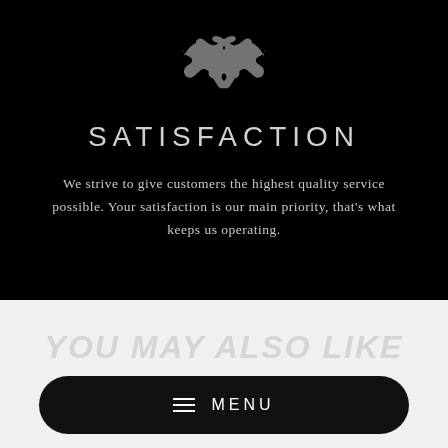[Figure (illustration): Gray handshake icon on black background]
SATISFACTION
We strive to give customers the highest quality service possible. Your satisfaction is our main priority, that's what keeps us operating.
YOU MAY ALSO LIKE
MENU